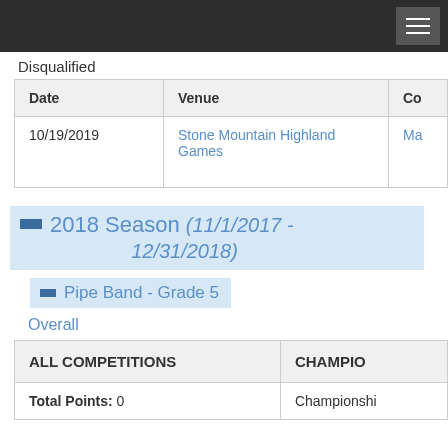Disqualified
| Date | Venue | Co |
| --- | --- | --- |
| 10/19/2019 | Stone Mountain Highland Games | Ma |
2018 Season (11/1/2017 - 12/31/2018)
Pipe Band - Grade 5
Overall
| ALL COMPETITIONS | CHAMPIO |
| --- | --- |
| Total Points: 0 | Championshi |